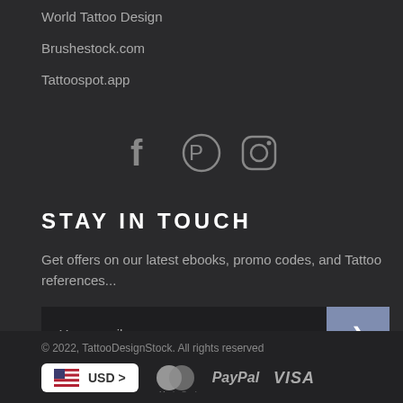World Tattoo Design
Brushestock.com
Tattoospot.app
[Figure (infographic): Social media icons: Facebook (f), Pinterest, Instagram]
STAY IN TOUCH
Get offers on our latest ebooks, promo codes, and Tattoo references...
Your email (input field with submit button)
© 2022, TattooDesignStock. All rights reserved
[Figure (infographic): Currency selector showing US flag and USD >, MasterCard logo, PayPal text, VISA text]